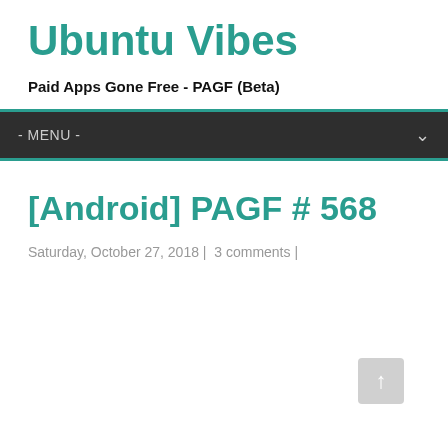Ubuntu Vibes
Paid Apps Gone Free - PAGF (Beta)
- MENU -
[Android] PAGF # 568
Saturday, October 27, 2018 |  3 comments |